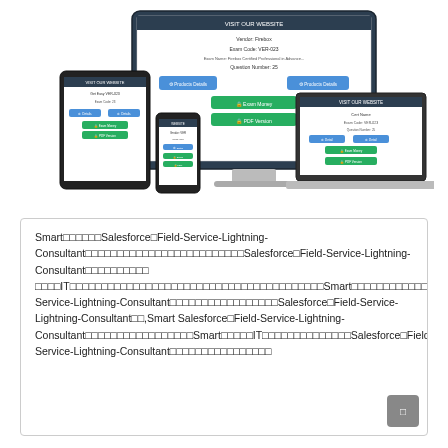[Figure (screenshot): Screenshot of an exam/quiz platform displayed on multiple devices: desktop monitor, tablet, and smartphone, showing a test interface with blue and green buttons for exam navigation.]
Smart□□□□□□Salesforce□Field-Service-Lightning-Consultant□□□□□□□□□□□□□□□□□□□□□□□□□Salesforce□Field-Service-Lightning-Consultant□□□□□□□□□□ □□□□IT□□□□□□□□□□□□□□□□□□□□□□□□□□□□□□□□□□□□□□□□Smart□□□□□□□□□□□□□□□□□□□□□□Field-Service-Lightning-Consultant□□□□□□□□□□□□□□□□□Salesforce□Field-Service-Lightning-Consultant□□,Smart Salesforce□Field-Service-Lightning-Consultant□□□□□□□□□□□□□□□□□Smart□□□□□IT□□□□□□□□□□□□□□Salesforce□Field-Service-Lightning-Consultant□□□□□□□□□□□□□□□□